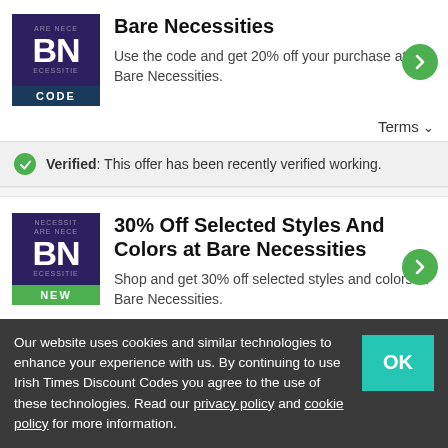[Figure (logo): Bare Necessities BN logo with CODE badge]
Bare Necessities
Use the code and get 20% off your purchase at Bare Necessities.
Terms
Verified: This offer has been recently verified working.
[Figure (logo): Bare Necessities BN logo with NEW badge]
30% Off Selected Styles And Colors at Bare Necessities
Shop and get 30% off selected styles and colors at Bare Necessities.
Our website uses cookies and similar technologies to enhance your experience with us. By continuing to use Irish Times Discount Codes you agree to the use of these technologies. Read our privacy policy and cookie policy for more information.